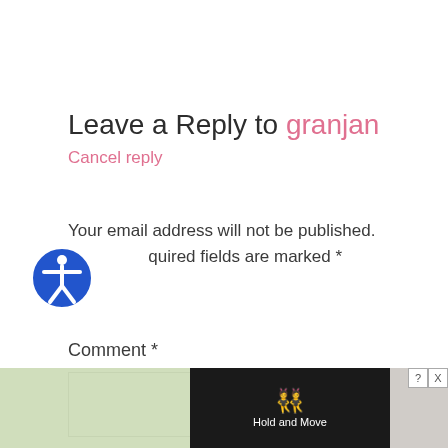Leave a Reply to granjan
Cancel reply
Your email address will not be published. Required fields are marked *
Comment *
[Figure (screenshot): Comment text area input box, empty, with a border]
[Figure (screenshot): Advertisement overlay at bottom of page showing 'Hold and Move' app with blue top bar showing score +20 / -33, dark panel with person icon in cyan, trees in background, close (X) and help (?) buttons]